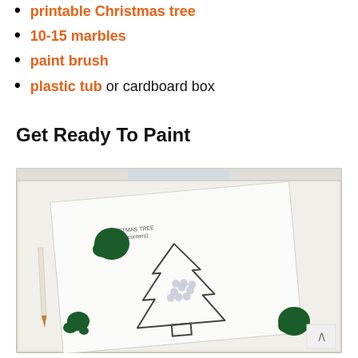printable Christmas tree
10-15 marbles
paint brush
plastic tub or cardboard box
Get Ready To Paint
[Figure (photo): A clear plastic tub containing a printable Christmas tree outline (labeled 'CHRISTMAS TREE (Round corners)') with green paint blobs and marbles scattered on the paper, ready for marble painting activity.]